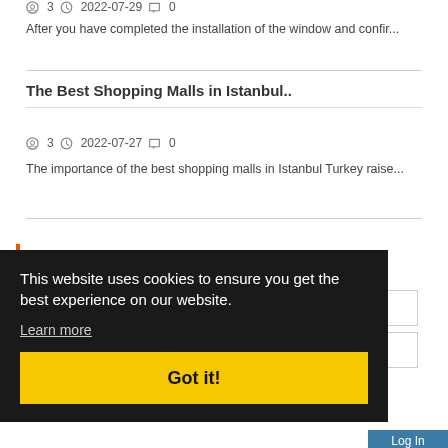3  2022-07-29  0
After you have completed the installation of the window and confir...
The Best Shopping Malls in Istanbul..
3  2022-07-27  0
The importance of the best shopping malls in Istanbul Turkey raise...
Login
This website uses cookies to ensure you get the best experience on our website.
Learn more
Got it!
Remember Me
Register | Forgot Password?